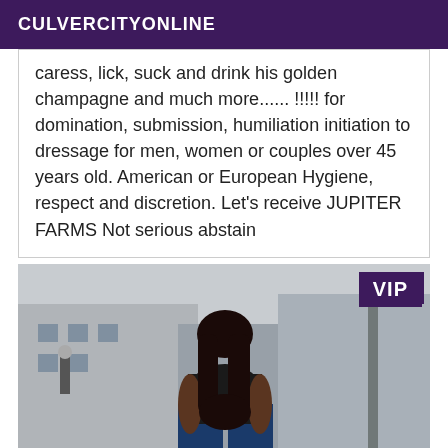CULVERCITYONLINE
caress, lick, suck and drink his golden champagne and much more...... !!!!! for domination, submission, humiliation initiation to dressage for men, women or couples over 45 years old. American or European Hygiene, respect and discretion. Let's receive JUPITER FARMS Not serious abstain
[Figure (photo): Woman standing on a street, viewed from behind, wearing a black top and ripped dark blue jeans, with long dark hair. Urban street scene background with buildings and a pole visible. VIP badge in top-right corner.]